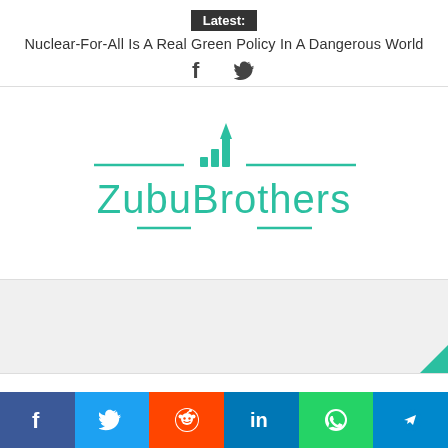Latest:
Nuclear-For-All Is A Real Green Policy In A Dangerous World
[Figure (logo): Social share icons: Facebook and Twitter]
[Figure (logo): ZubuBrothers logo with teal bar chart icon and decorative lines]
[Figure (infographic): Social share bar with Facebook, Twitter, Reddit, LinkedIn, WhatsApp, and Telegram buttons]